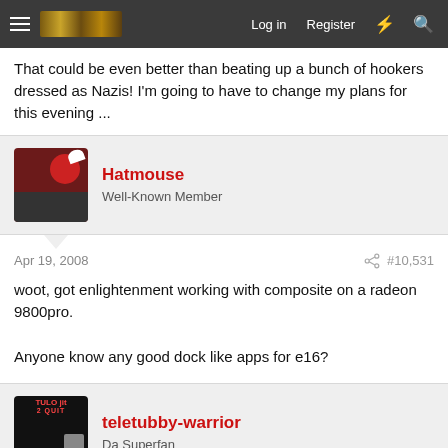Log in  Register
That could be even better than beating up a bunch of hookers dressed as Nazis! I'm going to have to change my plans for this evening ...
Hatmouse
Well-Known Member
Apr 19, 2008  #10,531
woot, got enlightenment working with composite on a radeon 9800pro.

Anyone know any good dock like apps for e16?
teletubby-warrior
Da Superfan
Apr 19, 2008  #10,532